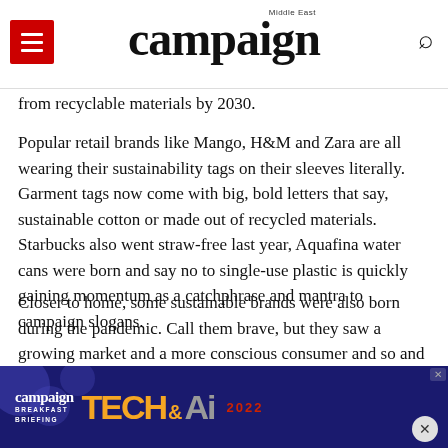campaign Middle East
from recyclable materials by 2030.
Popular retail brands like Mango, H&M and Zara are all wearing their sustainability tags on their sleeves literally. Garment tags now come with big, bold letters that say, sustainable cotton or made out of recycled materials. Starbucks also went straw-free last year, Aquafina water cans were born and say no to single-use plastic is quickly gaining momentum as a catchphrase and mantra to campaign slogans.
Closer to home, some sustainable brands were also born during the pandemic. Call them brave, but they saw a growing market and a more conscious consumer and so and little more than a year later, they seem to be doing well for themselves. One of
[Figure (screenshot): Advertisement banner for Campaign Tech & AI Breakfast Briefing 2022 with blue background, orange and grey text]